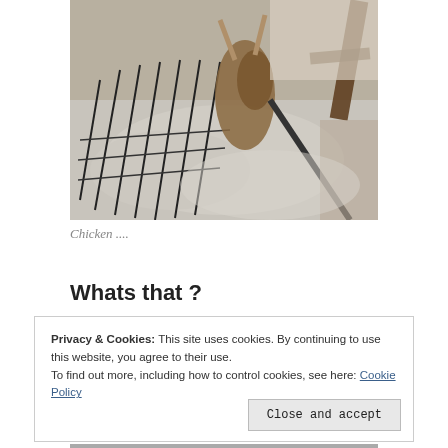[Figure (photo): A photo of a burned/charred chicken carcass on a wire grill over ash and embers, with burned wooden structures visible.]
Chicken ....
Whats that ?
Privacy & Cookies: This site uses cookies. By continuing to use this website, you agree to their use.
To find out more, including how to control cookies, see here: Cookie Policy
[Close and accept]